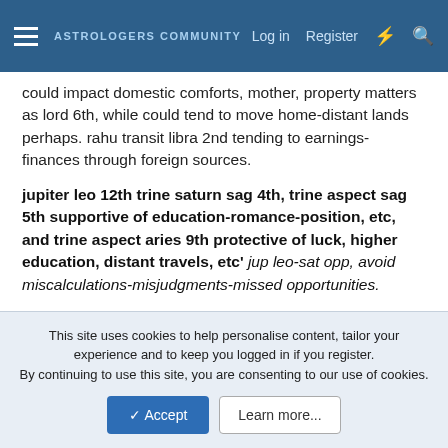ASTROLOGERS COMMUNITY | Log in | Register
could impact domestic comforts, mother, property matters as lord 6th, while could tend to move home-distant lands perhaps. rahu transit libra 2nd tending to earnings-finances through foreign sources.
jupiter leo 12th trine saturn sag 4th, trine aspect sag 5th supportive of education-romance-position, etc, and trine aspect aries 9th protective of luck, higher education, distant travels, etc' jup leo-sat opp, avoid miscalculations-misjudgments-missed opportunities.
hope generic observations-inputs help take stock of chart-transits, find relevant-useful enough,
This site uses cookies to help personalise content, tailor your experience and to keep you logged in if you register. By continuing to use this site, you are consenting to our use of cookies.